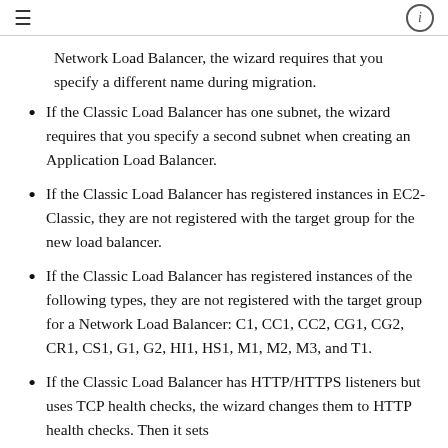≡  ℹ
Network Load Balancer, the wizard requires that you specify a different name during migration.
If the Classic Load Balancer has one subnet, the wizard requires that you specify a second subnet when creating an Application Load Balancer.
If the Classic Load Balancer has registered instances in EC2-Classic, they are not registered with the target group for the new load balancer.
If the Classic Load Balancer has registered instances of the following types, they are not registered with the target group for a Network Load Balancer: C1, CC1, CC2, CG1, CG2, CR1, CS1, G1, G2, HI1, HS1, M1, M2, M3, and T1.
If the Classic Load Balancer has HTTP/HTTPS listeners but uses TCP health checks, the wizard changes them to HTTP health checks. Then it sets